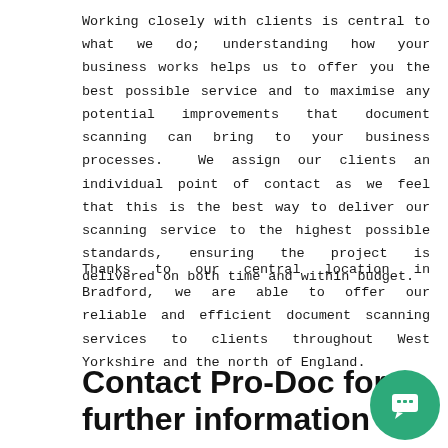Working closely with clients is central to what we do; understanding how your business works helps us to offer you the best possible service and to maximise any potential improvements that document scanning can bring to your business processes.  We assign our clients an individual point of contact as we feel that this is the best way to deliver our scanning service to the highest possible standards, ensuring the project is delivered on both time and within budget.
Thanks to our central location in Bradford, we are able to offer our reliable and efficient document scanning services to clients throughout West Yorkshire and the north of England.
Contact Pro-Doc for further information